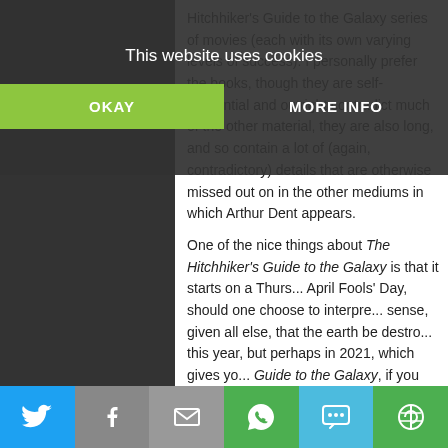This website uses cookies
OKAY
MORE INFO
01/17 - 01/24 (7)
01/10 - 01/17 (7)
01/03 - 01/10 (7)
2015 (324)
2014 (305)
2013 (464)
2012 (442)
2011 (124)
Hitchhiker's Guide to the Galaxy series of ... movies (each with its own varying levels of success). I personally prefer the books, though they are self-referential and outright contradict much of the other material, they are also long, and so contain a lot of (again, contradictory) details that are otherwise missed out on in the other mediums in which Arthur Dent appears.

One of the nice things about The Hitchhiker's Guide to the Galaxy is that it starts on a Thursday, April Fools' Day, should one choose to interpret... sense, given all else, that the earth be destroyed this year, but perhaps in 2021, which gives you... Guide to the Galaxy, if you haven't already).

Poor Arthur Dent. Kidnapped from earth mome... involved in the search for (and actually being)...
[Figure (screenshot): Social sharing bar with Twitter, Facebook, Email, WhatsApp, SMS, and Other icons]